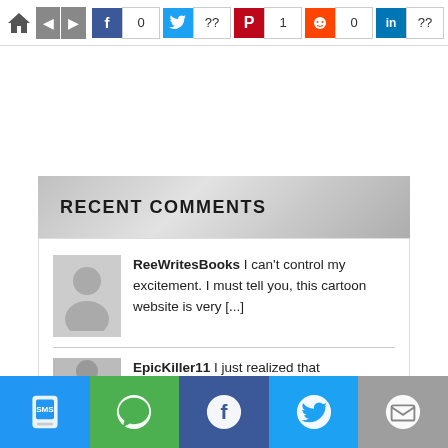[Figure (screenshot): Social share bar with home/nav icons and Facebook (0), Twitter (??), Pinterest (1), Reddit (0), LinkedIn (??) share counts]
RECENT COMMENTS
ReeWritesBooks I can't control my excitement. I must tell you, this cartoon website is very [...]
EpicKiller11 I just realized that
[Figure (screenshot): Bottom mobile share bar with SMS, WhatsApp, Facebook, Twitter, and Email buttons]